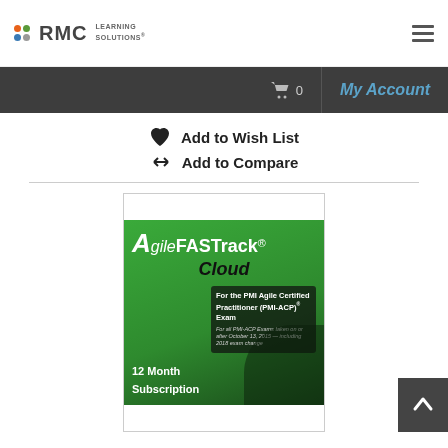RMC LEARNING SOLUTIONS
0  My Account
Add to Wish List
Add to Compare
[Figure (photo): Agile FASTrack Cloud - 12 Month Subscription product image for the PMI Agile Certified Practitioner (PMI-ACP) Exam]